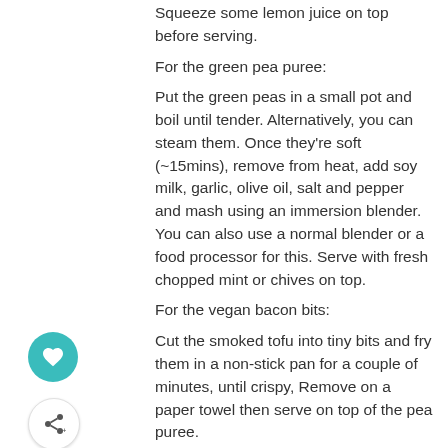Squeeze some lemon juice on top before serving.
For the green pea puree:
Put the green peas in a small pot and boil until tender. Alternatively, you can steam them. Once they're soft (~15mins), remove from heat, add soy milk, garlic, olive oil, salt and pepper and mash using an immersion blender. You can also use a normal blender or a food processor for this. Serve with fresh chopped mint or chives on top.
For the vegan bacon bits:
Cut the smoked tofu into tiny bits and fry them in a non-stick pan for a couple of minutes, until crispy, Remove on a paper towel then serve on top of the pea puree.